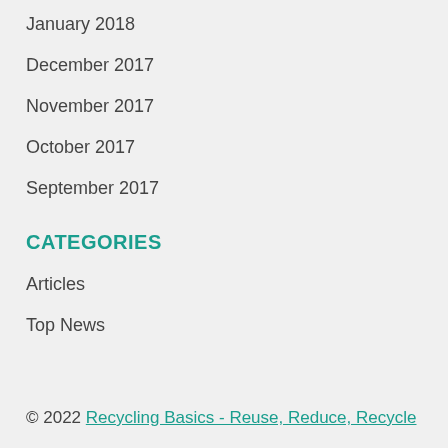January 2018
December 2017
November 2017
October 2017
September 2017
CATEGORIES
Articles
Top News
© 2022 Recycling Basics - Reuse, Reduce, Recycle